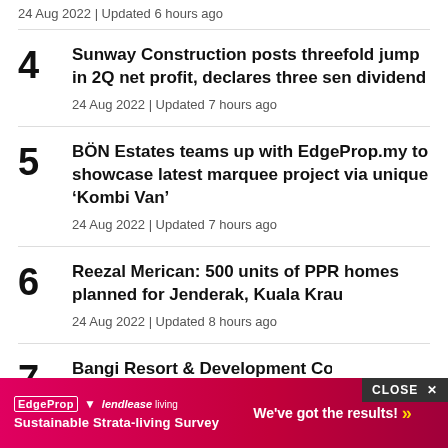24 Aug 2022 | Updated 6 hours ago
4 Sunway Construction posts threefold jump in 2Q net profit, declares three sen dividend
24 Aug 2022 | Updated 7 hours ago
5 BÖN Estates teams up with EdgeProp.my to showcase latest marquee project via unique ‘Kombi Van’
24 Aug 2022 | Updated 7 hours ago
6 Reezal Merican: 500 units of PPR homes planned for Jenderak, Kuala Krau
24 Aug 2022 | Updated 8 hours ago
7 Bangi Resort & Development Corp lo…
[Figure (infographic): Advertisement banner: EdgeProp and lendlease living Sustainable Strata-living Survey with text 'We've got the results!' and yellow double-chevron arrows. CLOSE button top right.]